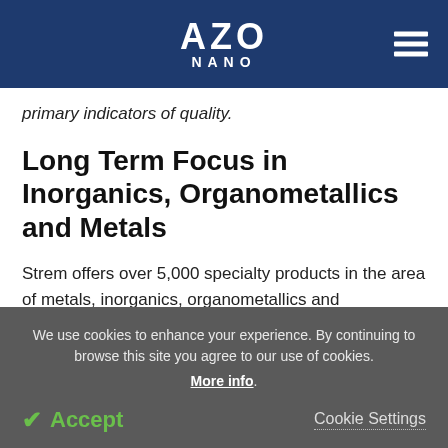AZO NANO
primary indicators of quality.
Long Term Focus in Inorganics, Organometallics and Metals
Strem offers over 5,000 specialty products in the area of metals, inorganics, organometallics and nanomaterials. It's first commercial product was
We use cookies to enhance your experience. By continuing to browse this site you agree to our use of cookies. More info.
Accept  Cookie Settings